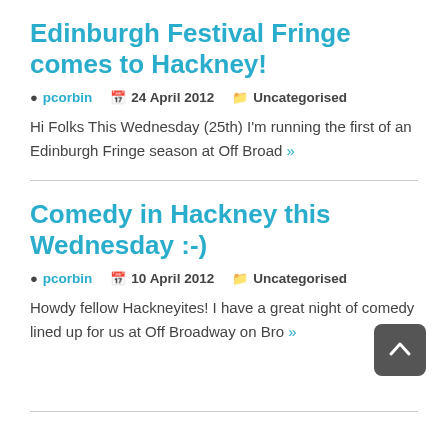Edinburgh Festival Fringe comes to Hackney!
pcorbin   24 April 2012   Uncategorised
Hi Folks This Wednesday (25th) I'm running the first of an Edinburgh Fringe season at Off Broad »
Comedy in Hackney this Wednesday :-)
pcorbin   10 April 2012   Uncategorised
Howdy fellow Hackneyites! I have a great night of comedy lined up for us at Off Broadway on Bro »